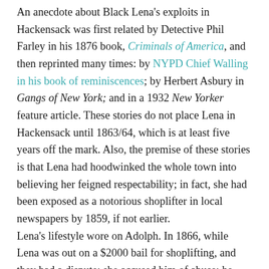An anecdote about Black Lena's exploits in Hackensack was first related by Detective Phil Farley in his 1876 book, Criminals of America, and then reprinted many times: by NYPD Chief Walling in his book of reminiscences; by Herbert Asbury in Gangs of New York; and in a 1932 New Yorker feature article. These stories do not place Lena in Hackensack until 1863/64, which is at least five years off the mark. Also, the premise of these stories is that Lena had hoodwinked the whole town into believing her feigned respectability; in fact, she had been exposed as a notorious shoplifter in local newspapers by 1859, if not earlier. Lena's lifestyle wore on Adolph. In 1866, while Lena was out on a $2000 bail for shoplifting, and they had a dispute: she accused him of abuse; he accused her of running off to Charleston with a man named John Joseph Heinrich (likely a shoplifting partner of Lena's). Adolph